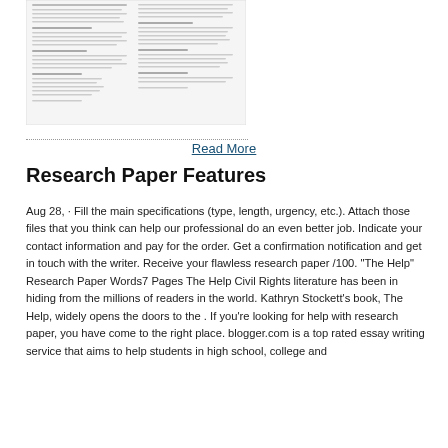[Figure (illustration): A small thumbnail image of a document page showing two-column text layout with headings and body text, representing a research paper sample.]
Read More
Research Paper Features
Aug 28,  · Fill the main specifications (type, length, urgency, etc.). Attach those files that you think can help our professional do an even better job. Indicate your contact information and pay for the order. Get a confirmation notification and get in touch with the writer. Receive your flawless research paper /100. "The Help" Research Paper Words7 Pages The Help Civil Rights literature has been in hiding from the millions of readers in the world. Kathryn Stockett's book, The Help, widely opens the doors to the . If you're looking for help with research paper, you have come to the right place. blogger.com is a top rated essay writing service that aims to help students in high school, college and